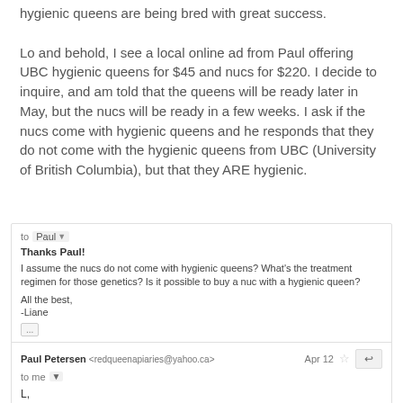hygienic queens are being bred with great success.

Lo and behold, I see a local online ad from Paul offering UBC hygienic queens for $45 and nucs for $220. I decide to inquire, and am told that the queens will be ready later in May, but the nucs will be ready in a few weeks. I ask if the nucs come with hygienic queens and he responds that they do not come with the hygienic queens from UBC (University of British Columbia), but that they ARE hygienic.
to Paul
Thanks Paul!
I assume the nucs do not come with hygienic queens? What's the treatment regimen for those genetics? Is it possible to buy a nuc with a hygienic queen?
All the best,
-Liane
Paul Petersen <redqueenapiaries@yahoo.ca>  Apr 12
to me
L,
They come with hygienic queens just not from UBC. Those are available later in may weather dependant.
P